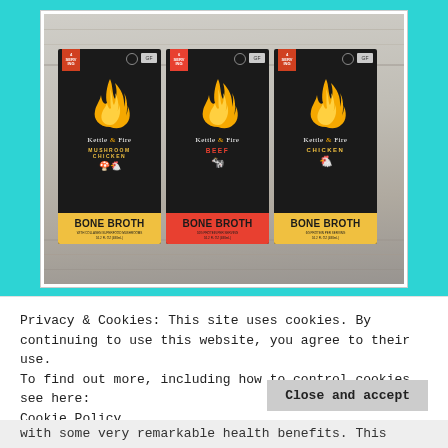[Figure (photo): Three Kettle & Fire Bone Broth product boxes (Mushroom Chicken, Beef, and Chicken flavors) with black packaging, flame logo, and yellow/red branding, displayed on a weathered white wood surface.]
Privacy & Cookies: This site uses cookies. By continuing to use this website, you agree to their use.
To find out more, including how to control cookies, see here:
Cookie Policy
Close and accept
with some very remarkable health benefits. This